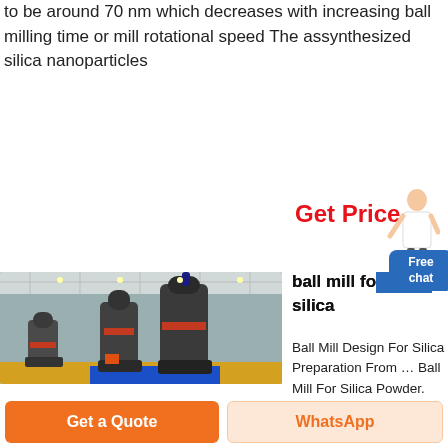to be around 70 nm which decreases with increasing ball milling time or mill rotational speed The assynthesized silica nanoparticles
Get Price
[Figure (photo): Industrial ball mill machines inside a large factory hall with grey cylindrical grinding units on a colorful exhibition floor]
ball mill for silica
Ball Mill Design For Silica Preparation From ... Ball Mill For Silica Powder. Ball mill for silica powder ball mill
Free chat
Get a Quote
WhatsApp